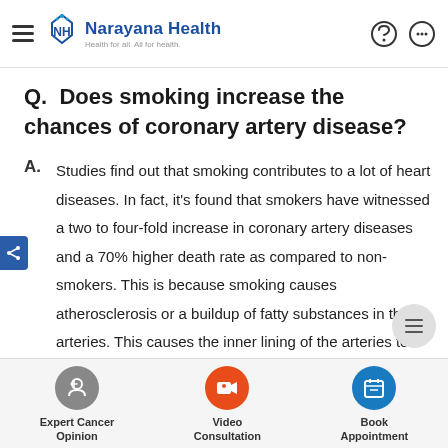Narayana Health — Health for all. All for health.
Q. Does smoking increase the chances of coronary artery disease?
A. Studies find out that smoking contributes to a lot of heart diseases. In fact, it's found that smokers have witnessed a two to four-fold increase in coronary artery diseases and a 70% higher death rate as compared to non-smokers. This is because smoking causes atherosclerosis or a buildup of fatty substances in the arteries. This causes the inner lining of the arteries to weaken and be filled with fat and plaque
Expert Cancer Opinion | Video Consultation | Book Appointment